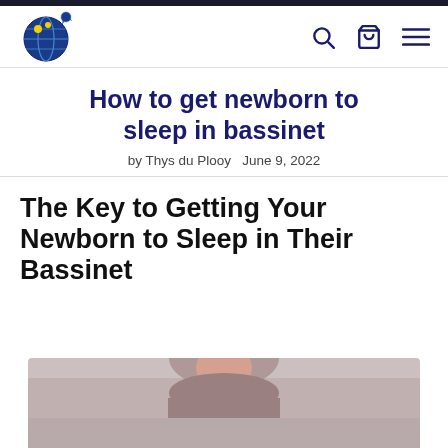Navigation bar with logo and icons
How to get newborn to sleep in bassinet
by Thys du Plooy   June 9, 2022
The Key to Getting Your Newborn to Sleep in Their Bassinet
[Figure (photo): Photo of a person (partially visible at bottom of page)]